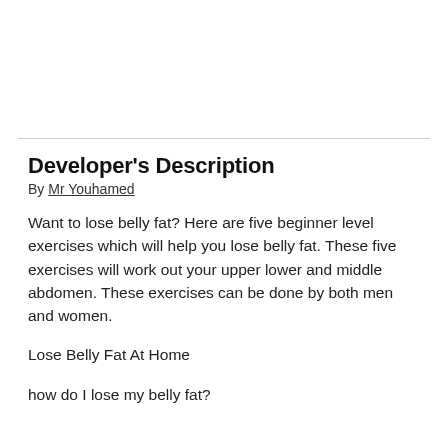Developer's Description
By Mr Youhamed
Want to lose belly fat? Here are five beginner level exercises which will help you lose belly fat. These five exercises will work out your upper lower and middle abdomen. These exercises can be done by both men and women.
Lose Belly Fat At Home
how do I lose my belly fat?